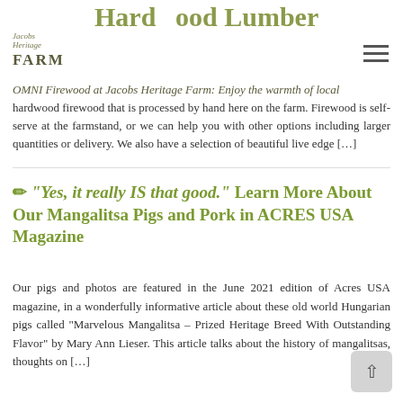Hardwood Lumber
[Figure (logo): Jacobs Heritage Farm logo with italic script and bold FARM text]
OMNI Firewood at Jacobs Heritage Farm: Enjoy the warmth of local hardwood firewood that is processed by hand here on the farm. Firewood is self-serve at the farmstand, or we can help you with other options including larger quantities or delivery. We also have a selection of beautiful live edge […]
✏ “Yes, it really IS that good.” Learn More About Our Mangalitsa Pigs and Pork in ACRES USA Magazine
Our pigs and photos are featured in the June 2021 edition of Acres USA magazine, in a wonderfully informative article about these old world Hungarian pigs called “Marvelous Mangalitsa – Prized Heritage Breed With Outstanding Flavor” by Mary Ann Lieser. This article talks about the history of mangalitsas, thoughts on […]